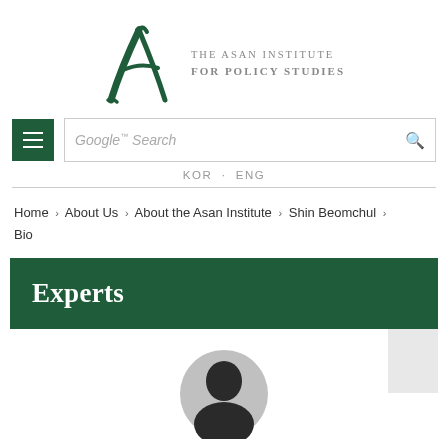[Figure (logo): The Asan Institute for Policy Studies logo with a large stylized dark green letter A and text to the right]
Google™ Search — KOR · ENG navigation bar with hamburger menu
Home › About Us › About the Asan Institute › Shin Beomchul › Bio
Experts
[Figure (photo): Circular profile photo of Shin Beomchul, partially visible at bottom of page]